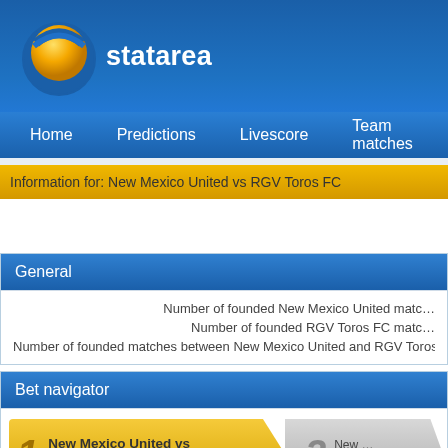statarea
Home  Predictions  Livescore  Team matches
Information for: New Mexico United vs RGV Toros FC
General
Number of founded New Mexico United matches
Number of founded RGV Toros FC matches
Number of founded matches between New Mexico United and RGV Toros
Bet navigator
1  New Mexico United vs RGV Toros FC
2  New  last 10 m